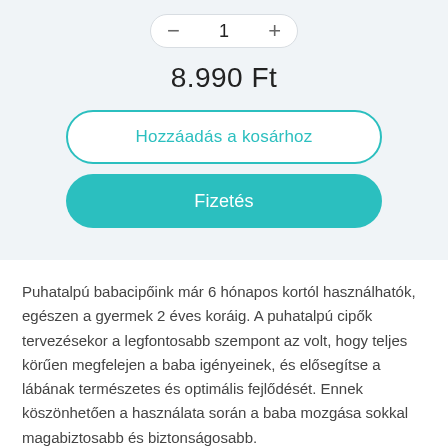− 1 +
8.990 Ft
Hozzáadás a kosárhoz
Fizetés
Puhatalpú babacipőink már 6 hónapos kortól használhatók, egészen a gyermek 2 éves koráig. A puhatalpú cipők tervezésekor a legfontosabb szempont az volt, hogy teljes körűen megfelejen a baba igényeinek, és elősegítse a lábának természetes és optimális fejlődését. Ennek köszönhetően a használata során a baba mozgása sokkal magabiztosabb és biztonságosabb.
A talprészen található apró gumikorongoknak köszönhetően